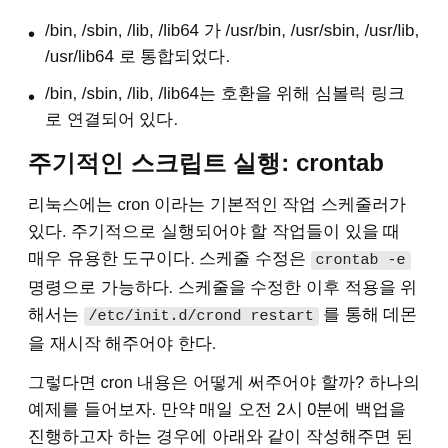/bin, /sbin, /lib, /lib64 가 /usr/bin, /usr/sbin, /usr/lib, /usr/lib64 로 통합되었다.
/bin, /sbin, /lib, /lib64는 호환을 위해 심볼릭 링크로 연결되어 있다.
주기적인 스크립트 실행: crontab
리눅스에는 cron 이라는 기본적인 작업 스케줄러가 있다. 주기적으로 실행되어야 할 작업들이 있을 때 매우 유용한 도구이다. 스케줄 수정은 crontab -e 명령으로 가능하다. 스케줄을 수정한 이후 적용을 위해서는 /etc/init.d/crond restart 를 통해 데몬을 재시작 해주어야 한다.
그렇다면 cron 내용은 어떻게 써주어야 할까? 하나의 예제를 들어보자. 만약 매일 오전 2시 0분에 백업을 진행하고자 하는 경우에 아래와 같이 작성해주면 된다.